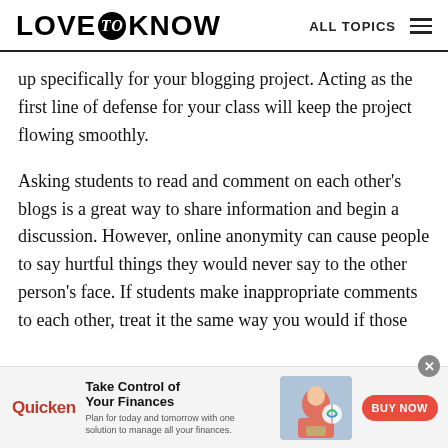LOVE to KNOW   ALL TOPICS
up specifically for your blogging project. Acting as the first line of defense for your class will keep the project flowing smoothly.
Asking students to read and comment on each other's blogs is a great way to share information and begin a discussion. However, online anonymity can cause people to say hurtful things they would never say to the other person's face. If students make inappropriate comments to each other, treat it the same way you would if those
[Figure (screenshot): Quicken advertisement banner: 'Take Control of Your Finances' with BUY NOW button, showing a woman working on finances]